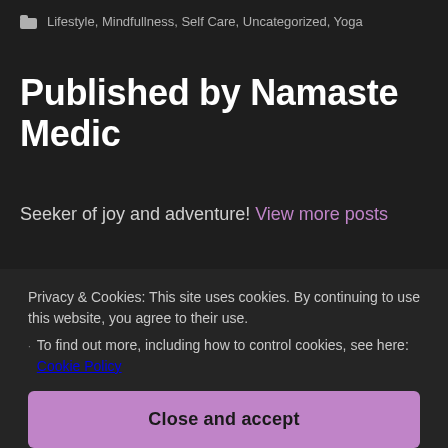Lifestyle, Mindfullness, Self Care, Uncategorized, Yoga
Published by Namaste Medic
Seeker of joy and adventure! View more posts
Privacy & Cookies: This site uses cookies. By continuing to use this website, you agree to their use.
To find out more, including how to control cookies, see here: Cookie Policy
Close and accept